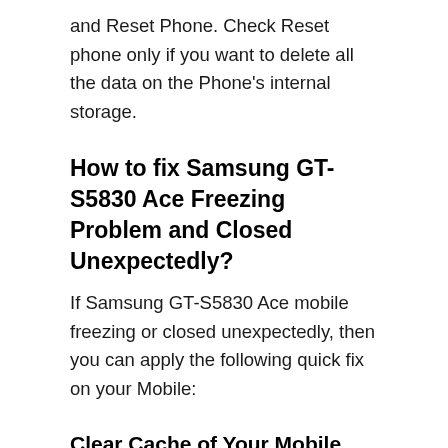and Reset Phone. Check Reset phone only if you want to delete all the data on the Phone's internal storage.
How to fix Samsung GT-S5830 Ace Freezing Problem and Closed Unexpectedly?
If Samsung GT-S5830 Ace mobile freezing or closed unexpectedly, then you can apply the following quick fix on your Mobile:
Clear Cache of Your Mobile
Samsung GT-S5830 Ace mobile can have a reboot loop if mobile cache memory is full. To fix this issue, you have to clear your mobile cache. You have to follow the below